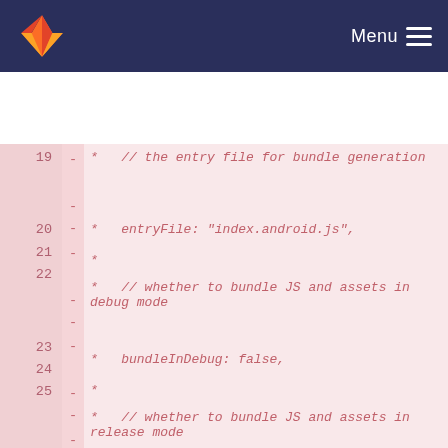GitLab navigation header with logo and Menu
[Figure (screenshot): GitLab diff view showing deleted lines 19-30 of a build configuration file with comments about bundle generation options including entryFile, bundleInDebug, bundleInRelease, and bundle variants.]